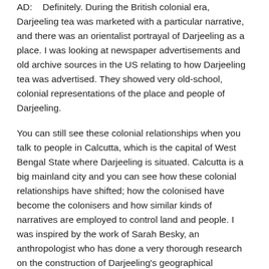AD:    Definitely. During the British colonial era, Darjeeling tea was marketed with a particular narrative, and there was an orientalist portrayal of Darjeeling as a place. I was looking at newspaper advertisements and old archive sources in the US relating to how Darjeeling tea was advertised. They showed very old-school, colonial representations of the place and people of Darjeeling.
You can still see these colonial relationships when you talk to people in Calcutta, which is the capital of West Bengal State where Darjeeling is situated. Calcutta is a big mainland city and you can see how these colonial relationships have shifted; how the colonised have become the colonisers and how similar kinds of narratives are employed to control land and people. I was inspired by the work of Sarah Besky, an anthropologist who has done a very thorough research on the construction of Darjeeling's geographical distinction in Darjeeling Tea: the building of a...